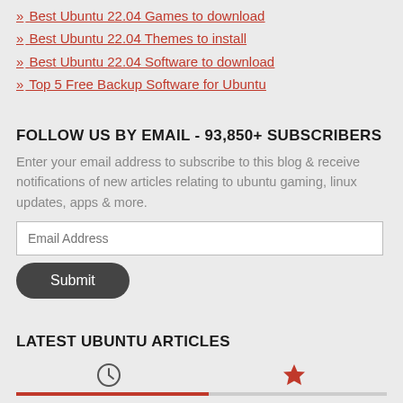» Best Ubuntu 22.04 Games to download
» Best Ubuntu 22.04 Themes to install
» Best Ubuntu 22.04 Software to download
» Top 5 Free Backup Software for Ubuntu
FOLLOW US BY EMAIL - 93,850+ SUBSCRIBERS
Enter your email address to subscribe to this blog & receive notifications of new articles relating to ubuntu gaming, linux updates, apps & more.
LATEST UBUNTU ARTICLES